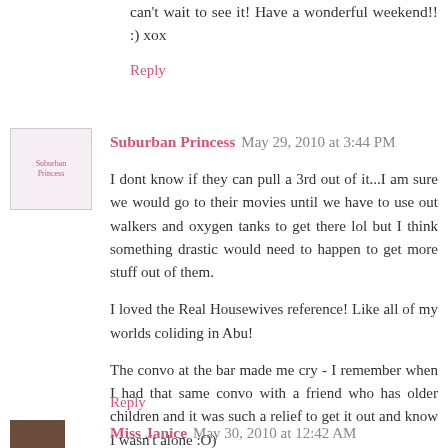can't wait to see it! Have a wonderful weekend!! :) xox
Reply
Suburban Princess  May 29, 2010 at 3:44 PM
I dont know if they can pull a 3rd out of it...I am sure we would go to their movies until we have to use out walkers and oxygen tanks to get there lol but I think something drastic would need to happen to get more stuff out of them.

I loved the Real Housewives reference! Like all of my worlds coliding in Abu!

The convo at the bar made me cry - I remember when I had that same convo with a friend who has older children and it was such a relief to get it out and know I wasn't alone :O)
Reply
Miss Janice  May 30, 2010 at 12:42 AM